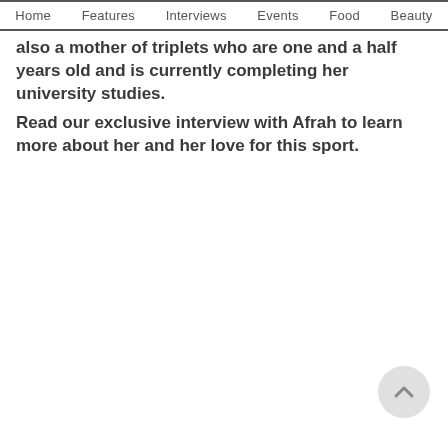Home  Features  Interviews  Events  Food  Beauty
also a mother of triplets who are one and a half years old and is currently completing her university studies.
Read our exclusive interview with Afrah to learn more about her and her love for this sport.